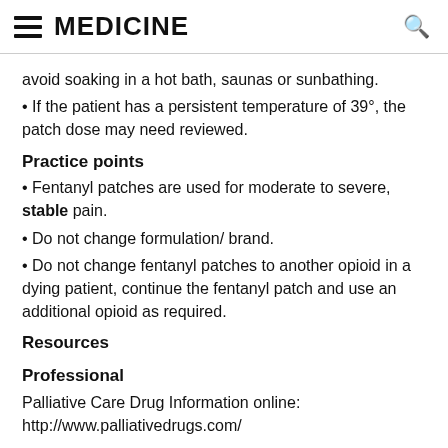MEDICINE
avoid soaking in a hot bath, saunas or sunbathing.
If the patient has a persistent temperature of 39°, the patch dose may need reviewed.
Practice points
Fentanyl patches are used for moderate to severe, stable pain.
Do not change formulation/ brand.
Do not change fentanyl patches to another opioid in a dying patient, continue the fentanyl patch and use an additional opioid as required.
Resources
Professional
Palliative Care Drug Information online: http://www.palliativedrugs.com/
Patient